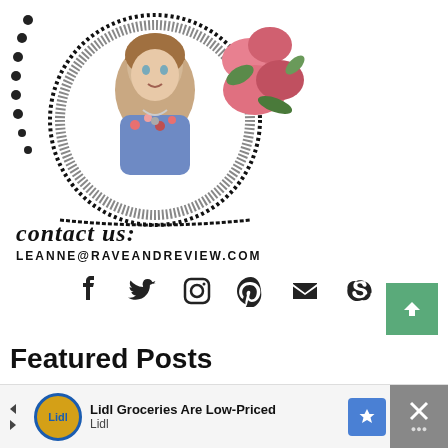[Figure (photo): Circular framed portrait photo of a woman with floral decorations and decorative border with contact information overlay]
contact us:
LEANNE@RAVEANDREVIEW.COM
[Figure (infographic): Social media icons row: Facebook, Twitter, Instagram, Pinterest, Email, Skype]
Featured Posts
[Figure (photo): Thumbnail image of children playing]
Extended play with the new American Girl kitchen
[Figure (infographic): Advertisement banner: Lidl Groceries Are Low-Priced - Lidl]